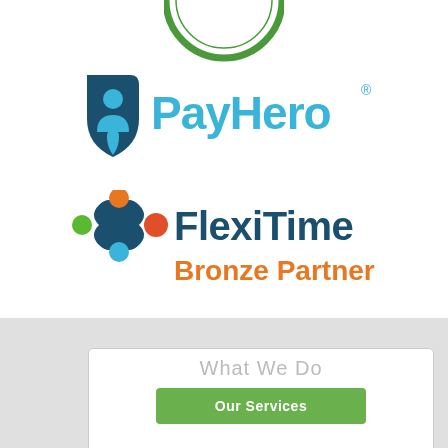[Figure (logo): Partial circular green 'Go Paperless' badge/seal, cropped at top of page]
[Figure (logo): PayHero logo: dark teal shield icon with person figure on left, 'PayHero' in cyan/blue text on right with registered trademark symbol]
[Figure (logo): FlexiTime Bronze Partner logo: colorful cross/flower icon with orange, green, blue, dark teal dots, 'FlexiTime' in dark teal and 'Bronze Partner' in orange text]
What We Do
Our Services